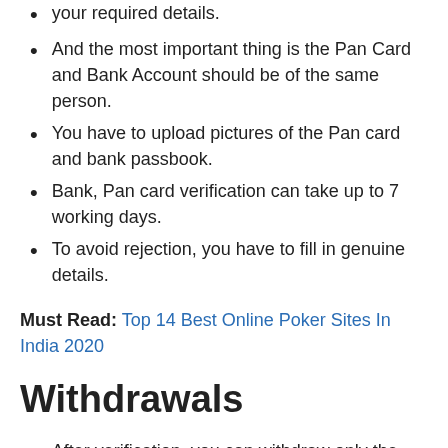your required details.
And the most important thing is the Pan Card and Bank Account should be of the same person.
You have to upload pictures of the Pan card and bank passbook.
Bank, Pan card verification can take up to 7 working days.
To avoid rejection, you have to fill in genuine details.
Must Read: Top 14 Best Online Poker Sites In India 2020
Withdrawals
After verification, you can withdraw only the winning amount.